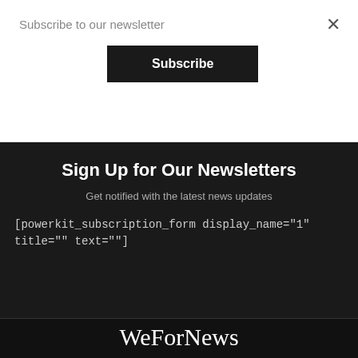Subscribe to our newsletter
Subscribe
Sign Up for Our Newsletters
Get notified with the latest news updates
[powerkit_subscription_form display_name="1" title="" text=""]
WeForNews
About Us   Careers   Disclaimer   Privacy Policy
Terms of Use